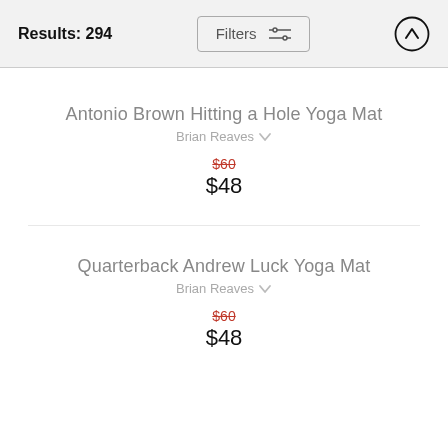Results: 294   Filters
Antonio Brown Hitting a Hole Yoga Mat
Brian Reaves
$60  $48
Quarterback Andrew Luck Yoga Mat
Brian Reaves
$60  $48